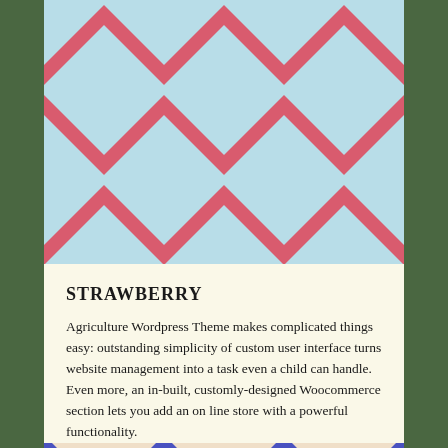[Figure (illustration): Harlequin diamond pattern in pink/rose and light blue colors, decorative header banner]
STRAWBERRY
Agriculture Wordpress Theme makes complicated things easy: outstanding simplicity of custom user interface turns website management into a task even a child can handle. Even more, an in-built, customly-designed Woocommerce section lets you add an on line store with a powerful functionality.
[Figure (illustration): Harlequin diamond pattern in blue/indigo and beige/cream colors, decorative bottom banner]